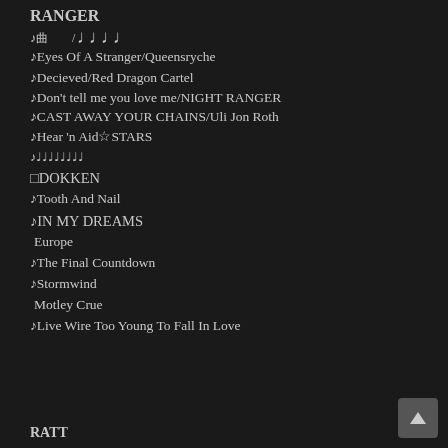RANGER
♪曲　　/♩♩♩♩
♪Eyes Of A Stranger/Queensryche
♪Decieved/Red Dragon Cartel
♪Don't tell me you love me/NIGHT RANGER
♪CAST AWAY YOUR CHAINS/Uli Jon Roth
♪Hear 'n Aid☆STARS
♪♩♩♩♩♩♩♩♩
□DOKKEN
♪Tooth And Nail
♪IN MY DREAMS
Europe
♪The Final Countdown
♪Stormwind
Motley Crue
♪Live Wire Too Young To Fall In Love
RATT